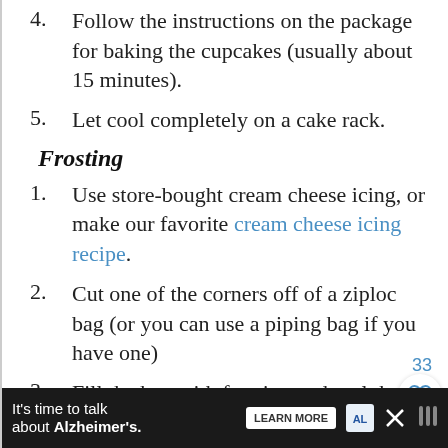4. Follow the instructions on the package for baking the cupcakes (usually about 15 minutes).
5. Let cool completely on a cake rack.
Frosting
1. Use store-bought cream cheese icing, or make our favorite cream cheese icing recipe.
2. Cut one of the corners off of a ziploc bag (or you can use a piping bag if you have one)
3. Fill the bag with frosting and seal the
[Figure (other): Page number 33 and heart/favorite button overlay]
It's time to talk about Alzheimer's. LEARN MORE [alzheimer's association logo]